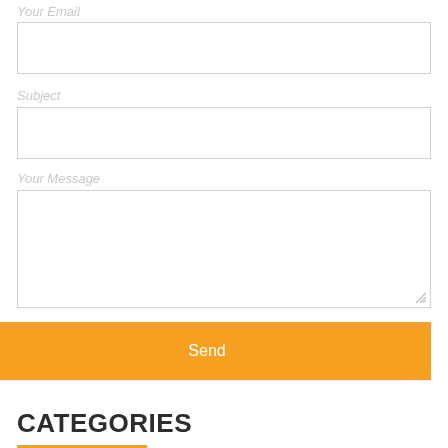Your Email
Subject
Your Message
Send
CATEGORIES